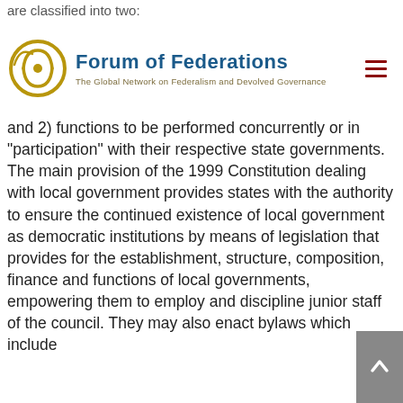Forum of Federations — The Global Network on Federalism and Devolved Governance
are classified into two: and 2) functions to be performed concurrently or in "participation" with their respective state governments. The main provision of the 1999 Constitution dealing with local government provides states with the authority to ensure the continued existence of local government as democratic institutions by means of legislation that provides for the establishment, structure, composition, finance and functions of local governments, empowering them to employ and discipline junior staff of the council. They may also enact bylaws which include